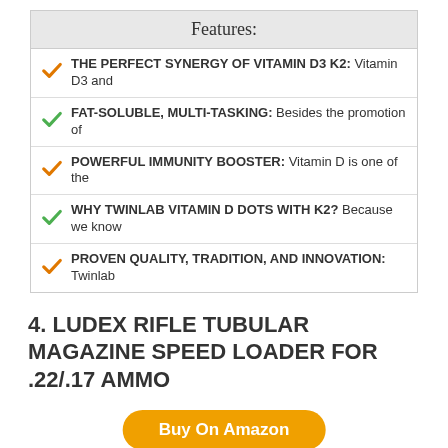Features:
THE PERFECT SYNERGY OF VITAMIN D3 K2: Vitamin D3 and
FAT-SOLUBLE, MULTI-TASKING: Besides the promotion of
POWERFUL IMMUNITY BOOSTER: Vitamin D is one of the
WHY TWINLAB VITAMIN D DOTS WITH K2? Because we know
PROVEN QUALITY, TRADITION, AND INNOVATION: Twinlab
4. LUDEX RIFLE TUBULAR MAGAZINE SPEED LOADER FOR .22/.17 AMMO
Buy On Amazon